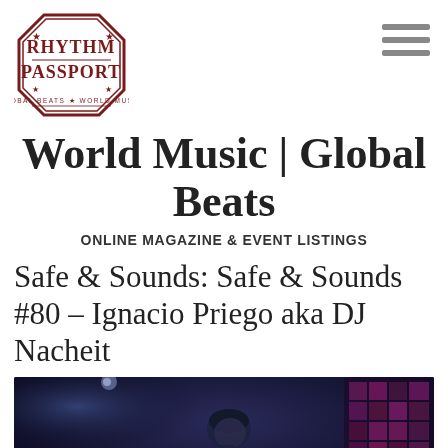[Figure (logo): Rhythm Passport logo — octagonal stamp-style badge in dark red/maroon with stars, text RHYTHM PASSPORT, GLOBAL BEATS WORLD MUSIC]
World Music | Global Beats
ONLINE MAGAZINE & EVENT LISTINGS
Safe & Sounds: Safe & Sounds #80 – Ignacio Priego aka DJ Nacheit
[Figure (photo): Dark blue-toned photo of a man (DJ) bent over equipment on stage, with stage lighting in background]